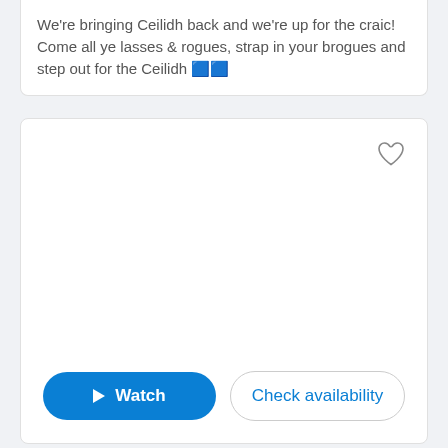We're bringing Ceilidh back and we're up for the craic! Come all ye lasses & rogues, strap in your brogues and step out for the Ceilidh 🟦🟦
[Figure (screenshot): A card UI element with a heart/like icon in the top right corner and a large blank white content area, with two buttons at the bottom: a blue 'Watch' button with a play triangle icon and a white 'Check availability' button.]